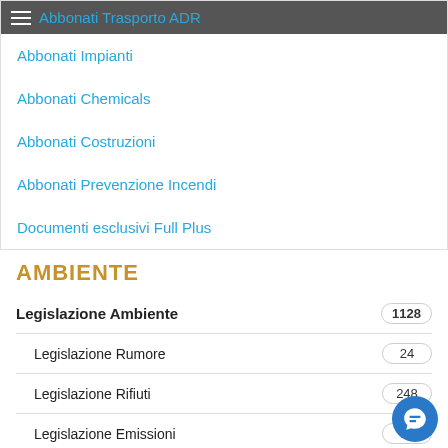Abbonati Trasporto ADR
Abbonati Impianti
Abbonati Chemicals
Abbonati Costruzioni
Abbonati Prevenzione Incendi
Documenti esclusivi Full Plus
AMBIENTE
| Item | Count |
| --- | --- |
| Legislazione Ambiente | 1128 |
| Legislazione Rumore | 24 |
| Legislazione Rifiuti | 248 |
| Legislazione Emissioni | 97 |
| Legislazione inquinamento | 58 |
| Legislazione Pesticidi |  |
| Legislazione acque | 64 |